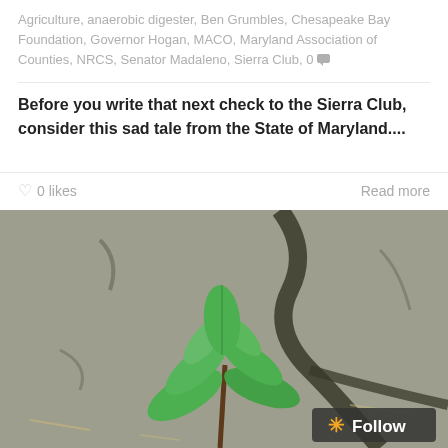Agriculture, anaerobic digester, Ben Grumbles, Chesapeake Bay Foundation, Governor Hogan, MACO, Maryland Association of Counties, NRCS, Senator Madaleno, Sierra Club, 0
Before you write that next check to the Sierra Club, consider this sad tale from the State of Maryland....
0 likes
Read more
[Figure (photo): A small green seedling plant growing up through cracked dry earth/rock, photographed close-up. A 'Follow' button with an orange asterisk appears in the bottom-right corner.]